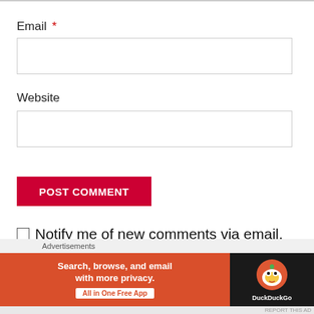Email *
Website
POST COMMENT
Notify me of new comments via email.
[Figure (screenshot): DuckDuckGo advertisement banner: orange left panel with 'Search, browse, and email with more privacy. All in One Free App' and black right panel with DuckDuckGo duck logo and brand name.]